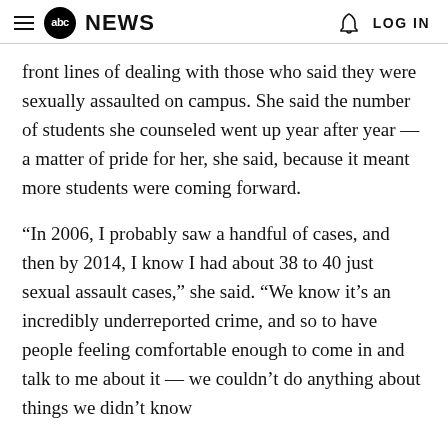abc NEWS  LOG IN
front lines of dealing with those who said they were sexually assaulted on campus. She said the number of students she counseled went up year after year — a matter of pride for her, she said, because it meant more students were coming forward.
“In 2006, I probably saw a handful of cases, and then by 2014, I know I had about 38 to 40 just sexual assault cases,” she said. “We know it’s an incredibly underreported crime, and so to have people feeling comfortable enough to come in and talk to me about it — we couldn’t do anything about things we didn’t know